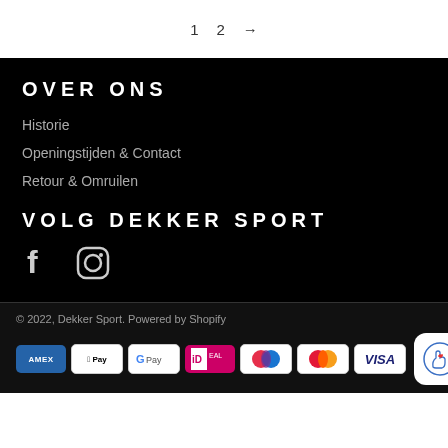1  2  →
OVER ONS
Historie
Openingstijden & Contact
Retour & Omruilen
VOLG DEKKER SPORT
[Figure (other): Facebook and Instagram social media icons]
© 2022, Dekker Sport. Powered by Shopify
[Figure (other): Payment method logos: Amex, Apple Pay, Google Pay, iDeal, Maestro, Mastercard, Visa]
[Figure (other): Chat/support button with hand holding heart icon]